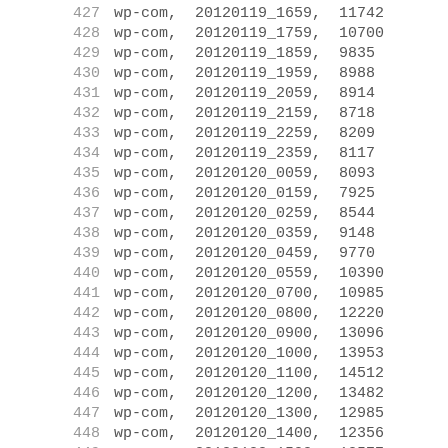| row | source | timestamp | value |
| --- | --- | --- | --- |
| 427 | wp-com, | 20120119_1659, | 11742 |
| 428 | wp-com, | 20120119_1759, | 10700 |
| 429 | wp-com, | 20120119_1859, | 9835 |
| 430 | wp-com, | 20120119_1959, | 8988 |
| 431 | wp-com, | 20120119_2059, | 8914 |
| 432 | wp-com, | 20120119_2159, | 8718 |
| 433 | wp-com, | 20120119_2259, | 8209 |
| 434 | wp-com, | 20120119_2359, | 8117 |
| 435 | wp-com, | 20120120_0059, | 8093 |
| 436 | wp-com, | 20120120_0159, | 7925 |
| 437 | wp-com, | 20120120_0259, | 8544 |
| 438 | wp-com, | 20120120_0359, | 9148 |
| 439 | wp-com, | 20120120_0459, | 9770 |
| 440 | wp-com, | 20120120_0559, | 10390 |
| 441 | wp-com, | 20120120_0700, | 10985 |
| 442 | wp-com, | 20120120_0800, | 12220 |
| 443 | wp-com, | 20120120_0900, | 13096 |
| 444 | wp-com, | 20120120_1000, | 13953 |
| 445 | wp-com, | 20120120_1100, | 14512 |
| 446 | wp-com, | 20120120_1200, | 13482 |
| 447 | wp-com, | 20120120_1300, | 12985 |
| 448 | wp-com, | 20120120_1400, | 12356 |
| 449 | wp-com, | 20120120_1500, | 12577 |